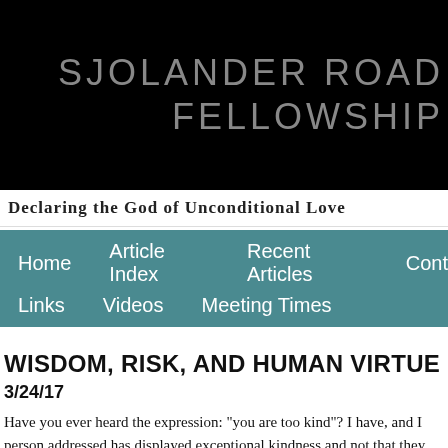SJOLANDER ROAD FELLOWSHIP
Declaring the God of Unconditional Love
Home   Article Index   Recent Articles   Cont...   Links   Videos   Meeting Times
WISDOM, RISK, AND HUMAN VIRTUE
3/24/17
Have you ever heard the expression: "you are too kind"? I have, and I [person addressed has displayed exceptional kindness and not that they fault. I don't assume that the speaker thinks that the kindness shown w foolish. But, perhaps, I read too much of my own interpretation into th